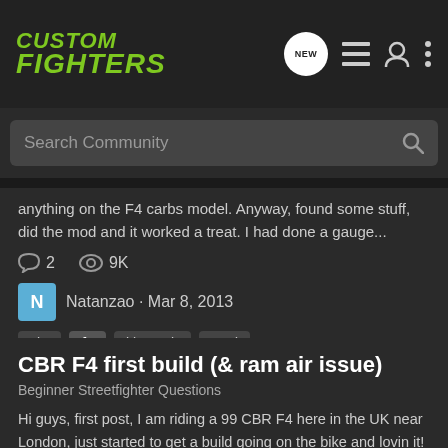CUSTOM FIGHTERS
Search Community
anything on the F4 carbs model. Anyway, found some stuff, did the mod and it worked a treat. I had done a gauge...
2  9K
Natanzao · Mar 8, 2013
cbr  f4  kleen air  mod
CBR F4 first build (& ram air issue)
Beginner Streetfighter Questions
Hi guys, first post, I am riding a 99 CBR F4 here in the UK near London, just started to get a build going on the bike and lovin it! So far.... 2006 R6 Tail conversion, risers, straight drag bars, Streetfighter headlight, Danmoto 180 digital dash, relocated ignition to under the seat, made...